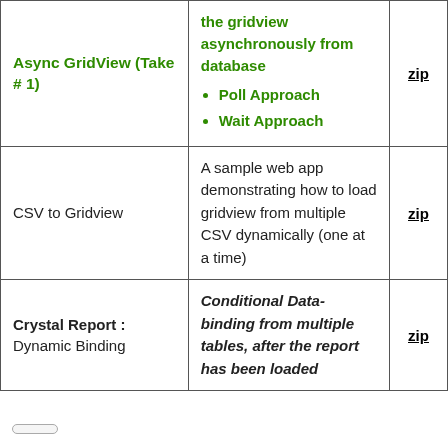|  | Description | Download |
| --- | --- | --- |
| Async GridView (Take # 1) | the gridview asynchronously from database
• Poll Approach
• Wait Approach | zip |
| CSV to Gridview | A sample web app demonstrating how to load gridview from multiple CSV dynamically (one at a time) | zip |
| Crystal Report : Dynamic Binding | Conditional Data-binding from multiple tables, after the report has been loaded | zip |